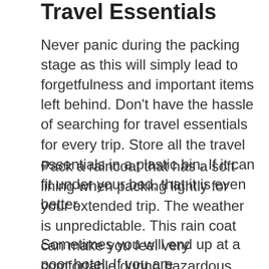Travel Essentials
Never panic during the packing stage as this will simply lead to forgetfulness and important items left behind. Don’t have the hassle of searching for travel essentials for every trip. Store all the travel essentials in a plastic bin. If it can fit under your bed, that it is even better.
Pack a raincoat that has a soft lining when packing lightly for your extended trip. The weather is unpredictable. This rain coat can make you feel very comfortable during hazardous conditions or just running around your hotel room.
Sometimes you will end up at a poor hotel. If you are uncomfortable with where you are staying,